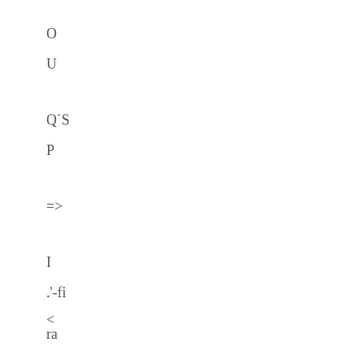O
U
Q˙S
P
=>
I
.'-fi
<
ra
<s
>